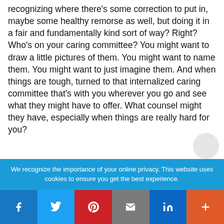recognizing where there's some correction to put in, maybe some healthy remorse as well, but doing it in a fair and fundamentally kind sort of way? Right? Who's on your caring committee? You might want to draw a little pictures of them. You might want to name them. You might want to just imagine them. And when things are tough, turned to that internalized caring committee that's with you wherever you go and see what they might have to offer. What counsel might they have, especially when things are really hard for you?
We recognize the importance of your online privacy. This website uses cookies to ensure you get the best experience.